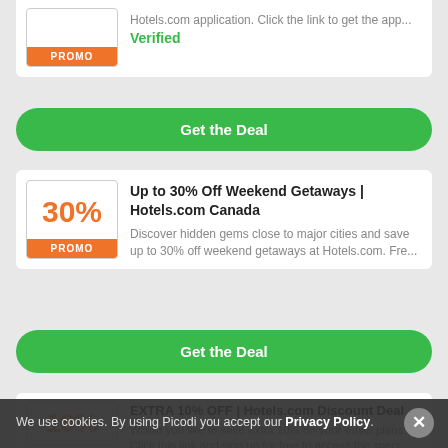Hotels.com application. Click the link to get the app...
Verified
Get the Deal
Up to 30% Off Weekend Getaways | Hotels.com Canada
30%
PROMO
Discover hidden gems close to major cities and save up to 30% off weekend getaways at Hotels.com. Fre...
Get the Deal
EXTRA 10% OFF | Hotels.com Discount Deal
10%
PROMO
Would you like to save extra 10% on your travel plans? Click this link and sign up for free to access the speci...
We use cookies. By using Picodi you accept our Privacy Policy.